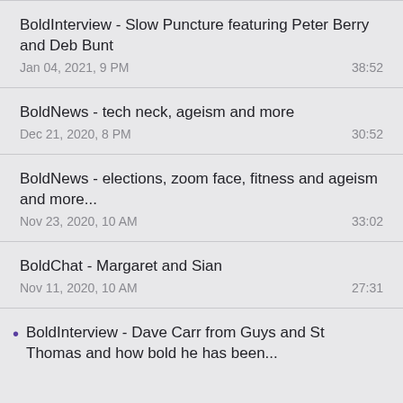BoldInterview - Slow Puncture featuring Peter Berry and Deb Bunt
Jan 04, 2021, 9 PM	38:52
BoldNews - tech neck, ageism and more
Dec 21, 2020, 8 PM	30:52
BoldNews - elections, zoom face, fitness and ageism and more...
Nov 23, 2020, 10 AM	33:02
BoldChat - Margaret and Sian
Nov 11, 2020, 10 AM	27:31
BoldInterview - Dave Carr from Guys and St Thomas and how bold he has been...